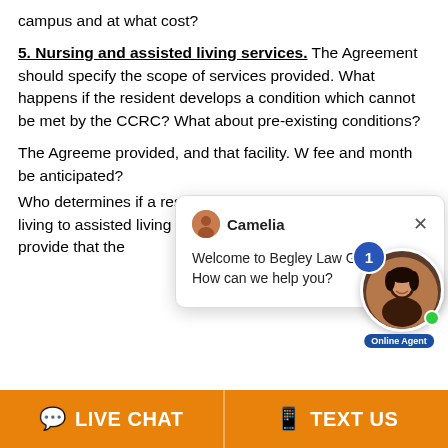campus and at what cost?
5. Nursing and assisted living services. The Agreement should specify the scope of services provided. What happens if the resident develops a condition which cannot be met by the CCRC? What about pre-existing conditions?
The Agreement [partially obscured by chat popup] provided, and that facility. W fee and monthly [obscured] be anticipated?
Who determines if a resident needs to be m[oved from] independent living to assisted living or the n[ursing] unit? The Agreement should provide that the[...]
[Figure (screenshot): Chat popup from Begley Law Group with avatar of Camelia, a close button (×), and message: 'Welcome to Begley Law Group, PC! How can we help you?']
[Figure (photo): Online agent photo — woman with dark hair, circular crop, blue notification badge showing '1', green online dot, and 'Online Agent' label.]
💬 LIVE CHAT   📱 TEXT US